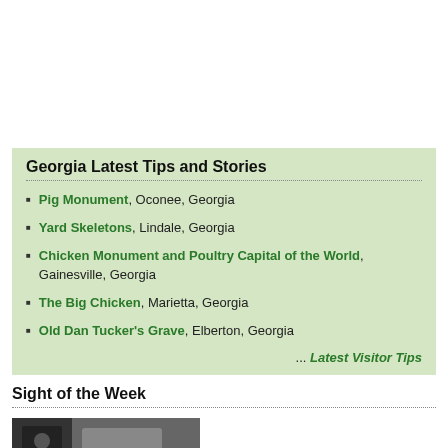Georgia Latest Tips and Stories
Pig Monument, Oconee, Georgia
Yard Skeletons, Lindale, Georgia
Chicken Monument and Poultry Capital of the World, Gainesville, Georgia
The Big Chicken, Marietta, Georgia
Old Dan Tucker's Grave, Elberton, Georgia
... Latest Visitor Tips
Sight of the Week
[Figure (photo): Photograph thumbnail for Sight of the Week section]